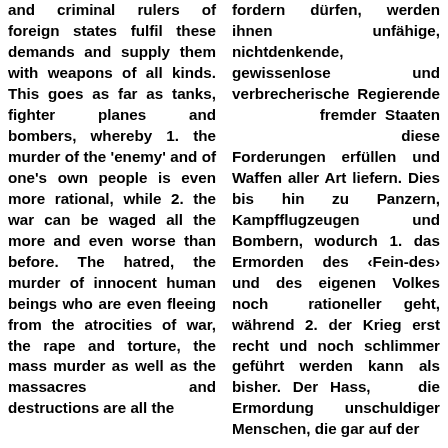and criminal rulers of foreign states fulfil these demands and supply them with weapons of all kinds. This goes as far as tanks, fighter planes and bombers, whereby 1. the murder of the 'enemy' and of one's own people is even more rational, while 2. the war can be waged all the more and even worse than before. The hatred, the murder of innocent human beings who are even fleeing from the atrocities of war, the rape and torture, the mass murder as well as the massacres and destructions are all the
fordern dürfen, werden ihnen unfähige, nichtdenkende, gewissenlose und verbrecherische Regierende fremder Staaten diese Forderungen erfüllen und Waffen aller Art liefern. Dies bis hin zu Panzern, Kampfflugzeugen und Bombern, wodurch 1. das Ermorden des ‹Fein-des› und des eigenen Volkes noch rationeller geht, während 2. der Krieg erst recht und noch schlimmer geführt werden kann als bisher. Der Hass, die Ermordung unschuldiger Menschen, die gar auf der